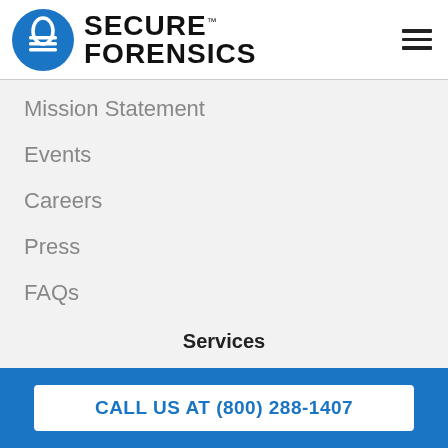[Figure (logo): Secure Forensics logo: blue circle with white padlock/lines icon, bold black text SECURE FORENSICS with TM mark]
Mission Statement
Events
Careers
Press
FAQs
Services
Digital Forensics
Mobile Phone Forensics
CALL US AT (800) 288-1407